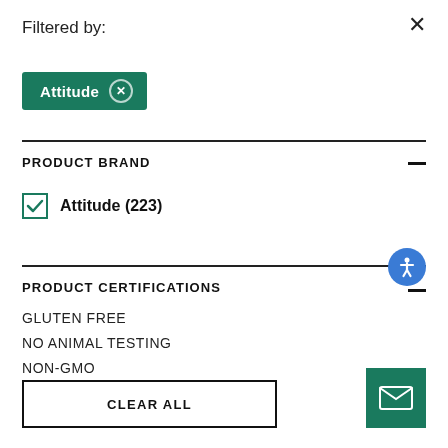Filtered by:
×
Attitude ×
PRODUCT BRAND
Attitude (223)
PRODUCT CERTIFICATIONS
GLUTEN FREE
NO ANIMAL TESTING
NON-GMO
ORGANIC
CLEAR ALL